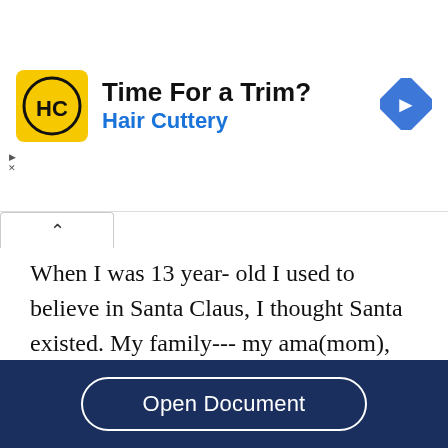[Figure (infographic): Hair Cuttery advertisement banner with yellow square logo showing 'HC' text, headline 'Time For a Trim?' and subtext 'Hair Cuttery' in blue, with a blue navigation diamond icon on the right]
When I was 13 year- old I used to believe in Santa Claus, I thought Santa existed. My family--- my ama(mom), My baba(dad), my older brother Abi, my younger brother Bhidya, and my elder sisters Renuka and Reawti--- moved to Arizona from Nepal. When I think of Santa, I want to learn about him and I share on computer to read that who is Santa Claus. I found out that “Santa Claus is a
Open Document